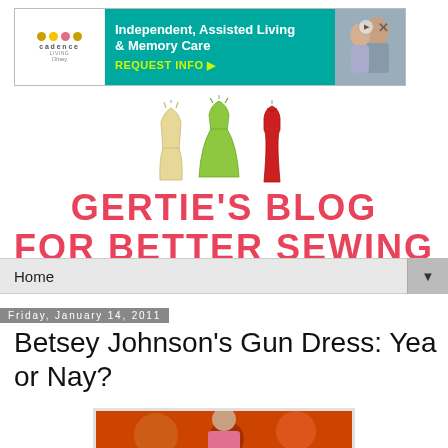[Figure (other): Cadence Living advertisement banner — Independent, Assisted Living & Memory Care, REQUEST INFO button, with logo and photo of elderly couple]
[Figure (illustration): Three illustrated dress icons — cream/gold strapless gown, green full-skirted dress, red sleeveless sheath dress]
GERTIE'S BLOG FOR BETTER SEWING
Home
Friday, January 14, 2011
Betsey Johnson's Gun Dress: Yea or Nay?
[Figure (photo): Photo of a woman in a colorful dress against an orange/red patterned background]